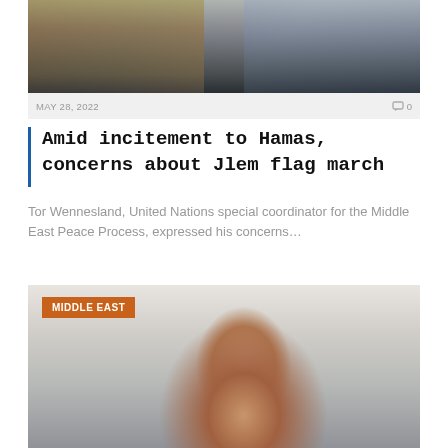[Figure (photo): Photo of bags/luggage displayed at a market stall and uniformed security personnel standing on a stone-paved street]
MAY 28, 2022
0
Amid incitement to Hamas, concerns about Jlem flag march
Tor Wennesland, United Nations special coordinator for the Middle East Peace Process, expressed his concerns…
MIDDLE EAST
[Figure (photo): Portrait photo of a young man with glasses, dark hair and beard, wearing a dark blazer, smiling, with a light blurred background]